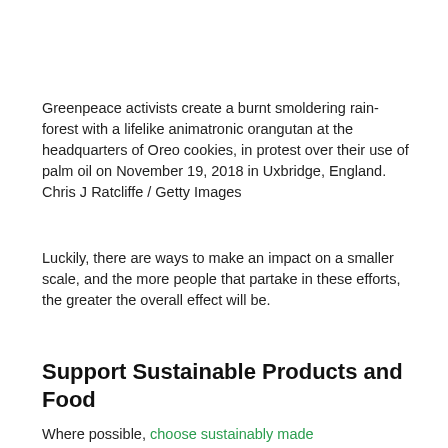Greenpeace activists create a burnt smoldering rainforest with a lifelike animatronic orangutan at the headquarters of Oreo cookies, in protest over their use of palm oil on November 19, 2018 in Uxbridge, England. Chris J Ratcliffe / Getty Images
Luckily, there are ways to make an impact on a smaller scale, and the more people that partake in these efforts, the greater the overall effect will be.
Support Sustainable Products and Food
Where possible, choose sustainably made